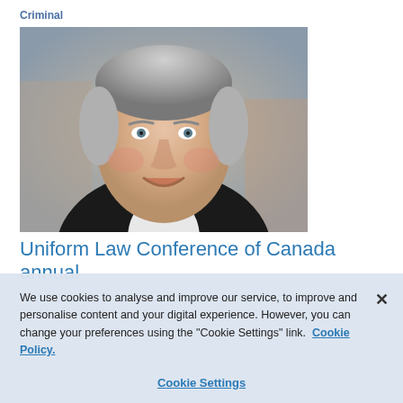Criminal
[Figure (photo): Portrait photograph of an older man with grey hair, wearing a dark suit and white shirt, smiling at the camera. Background is blurred indoor setting.]
Uniform Law Conference of Canada annual
We use cookies to analyse and improve our service, to improve and personalise content and your digital experience. However, you can change your preferences using the "Cookie Settings" link.  Cookie Policy.
Cookie Settings